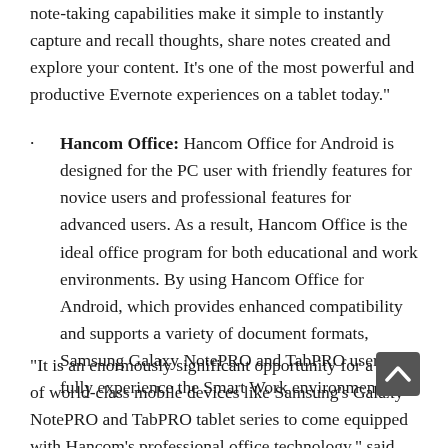note-taking capabilities make it simple to instantly capture and recall thoughts, share notes created and explore your content. It’s one of the most powerful and productive Evernote experiences on a tablet today.”
Hancom Office: Hancom Office for Android is designed for the PC user with friendly features for novice users and professional features for advanced users. As a result, Hancom Office is the ideal office program for both educational and work environments. By using Hancom Office for Android, which provides enhanced compatibility and supports a variety of document formats, Samsung Galaxy NotePRO and TabPRO users can fully experience the Smart Work environment.
“It is an enormously significant opportunity for a line of world-class mobile devices like Samsung’s Galaxy NotePRO and TabPRO tablet series to come equipped with Hancom’s professional office technology,” said Hong-